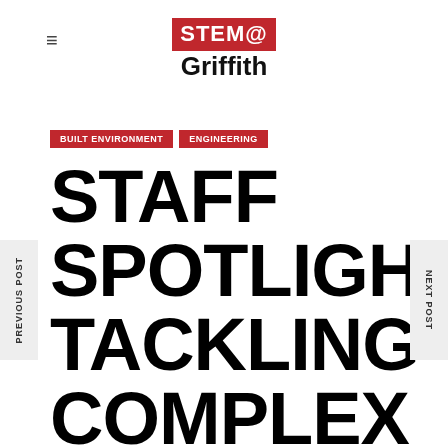STEM@ Griffith
BUILT ENVIRONMENT | ENGINEERING
STAFF SPOTLIGHT: TACKLING COMPLEX